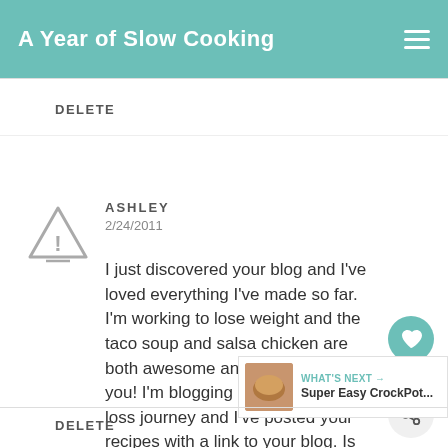A Year of Slow Cooking
DELETE
ASHLEY
2/24/2011
I just discovered your blog and I've loved everything I've made so far. I'm working to lose weight and the taco soup and salsa chicken are both awesome and healthy Thank you! I'm blogging about my weight loss journey and I've posted your recipes with a link to your blog. Is that ok with you?
DELETE
WHAT'S NEXT → Super Easy CrockPot...